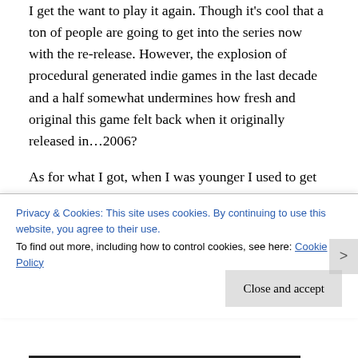I get the want to play it again. Though it's cool that a ton of people are going to get into the series now with the re-release. However, the explosion of procedural generated indie games in the last decade and a half somewhat undermines how fresh and original this game felt back when it originally released in…2006?
As for what I got, when I was younger I used to get Charmander and Cubone. In the most recent replay I was given Psyduck which is the unofficial hard mode. For real. Psyduck's attacks are terrible. You have to play most of the main story with scratch and
Privacy & Cookies: This site uses cookies. By continuing to use this website, you agree to their use.
To find out more, including how to control cookies, see here: Cookie Policy